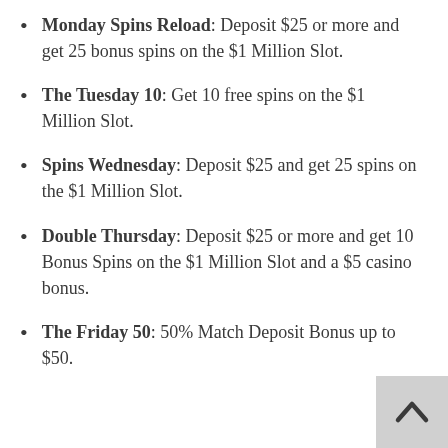Monday Spins Reload: Deposit $25 or more and get 25 bonus spins on the $1 Million Slot.
The Tuesday 10: Get 10 free spins on the $1 Million Slot.
Spins Wednesday: Deposit $25 and get 25 spins on the $1 Million Slot.
Double Thursday: Deposit $25 or more and get 10 Bonus Spins on the $1 Million Slot and a $5 casino bonus.
The Friday 50: 50% Match Deposit Bonus up to $50.